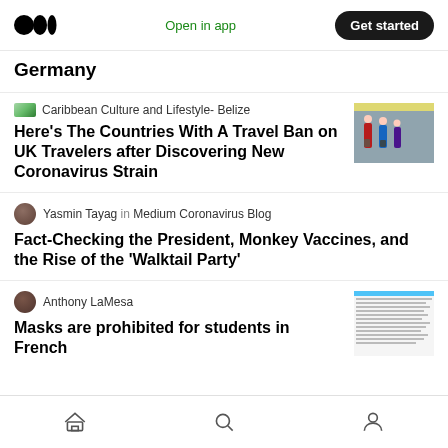Medium — Open in app | Get started
Germany
Caribbean Culture and Lifestyle- Belize
Here's The Countries With A Travel Ban on UK Travelers after Discovering New Coronavirus Strain
Yasmin Tayag in Medium Coronavirus Blog
Fact-Checking the President, Monkey Vaccines, and the Rise of the 'Walktail Party'
Anthony LaMesa
Masks are prohibited for students in French